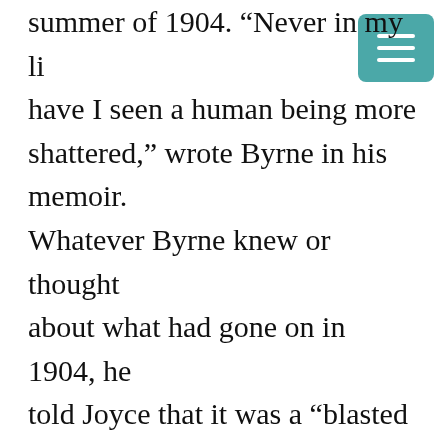summer of 1904. “Never in my life have I seen a human being more shattered,” wrote Byrne in his memoir.
Whatever Byrne knew or thought about what had gone on in 1904, he told Joyce that it was a “blasted lie” that Cosgrave was going out with Nora at the time. Writing to Stanislaus on 21 August Joyce added that Byrne had told him that…